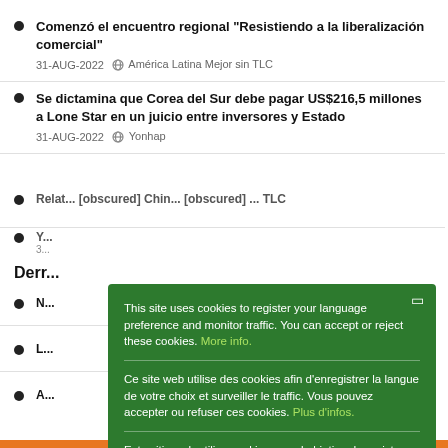Comenzó el encuentro regional "Resistiendo a la liberalización comercial"
31-AUG-2022  América Latina Mejor sin TLC
Se dictamina que Corea del Sur debe pagar US$216,5 millones a Lone Star en un juicio entre inversores y Estado
31-AUG-2022  Yonhap
[partial, obscured by cookie overlay]
Derr...
[partial]
[partial]
[partial]
This site uses cookies to register your language preference and monitor traffic. You can accept or reject these cookies. More info.

Ce site web utilise des cookies afin d'enregistrer la langue de votre choix et surveiller le traffic. Vous pouvez accepter ou refuser ces cookies. Plus d'infos.

Este sitio web utiliza cookies con el objetivo de registrar su idioma preferido y controlar el tráfico. Puede aceptar o rechazar estas cookies. Mayor información.

Ok